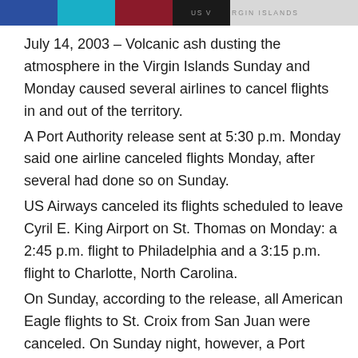US VIRGIN ISLANDS
July 14, 2003 – Volcanic ash dusting the atmosphere in the Virgin Islands Sunday and Monday caused several airlines to cancel flights in and out of the territory.
A Port Authority release sent at 5:30 p.m. Monday said one airline canceled flights Monday, after several had done so on Sunday.
US Airways canceled its flights scheduled to leave Cyril E. King Airport on St. Thomas on Monday: a 2:45 p.m. flight to Philadelphia and a 3:15 p.m. flight to Charlotte, North Carolina.
On Sunday, according to the release, all American Eagle flights to St. Croix from San Juan were canceled. On Sunday night, however, a Port Authority representative on St. Croix told the Source that no flights at Henry E. Rohlsen Airport had been affected as of 8 p.m.
Also canceled on St. Thomas Sunday, the release said, were